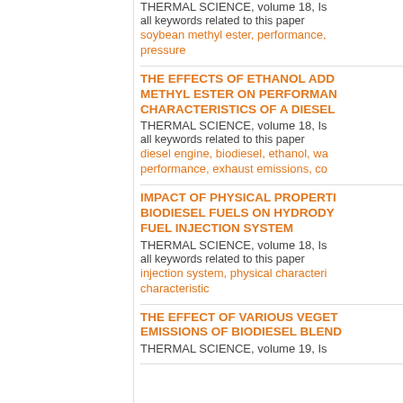THERMAL SCIENCE, volume 18, Is
all keywords related to this paper
soybean methyl ester, performance, pressure
THE EFFECTS OF ETHANOL ADD... METHYL ESTER ON PERFORMAN... CHARACTERISTICS OF A DIESEL...
THERMAL SCIENCE, volume 18, Is
all keywords related to this paper
diesel engine, biodiesel, ethanol, wa... performance, exhaust emissions, co...
IMPACT OF PHYSICAL PROPERTI... BIODIESEL FUELS ON HYDRODY... FUEL INJECTION SYSTEM
THERMAL SCIENCE, volume 18, Is
all keywords related to this paper
injection system, physical characteri... characteristic
THE EFFECT OF VARIOUS VEGET... EMISSIONS OF BIODIESEL BLEND...
THERMAL SCIENCE, volume 19, Is